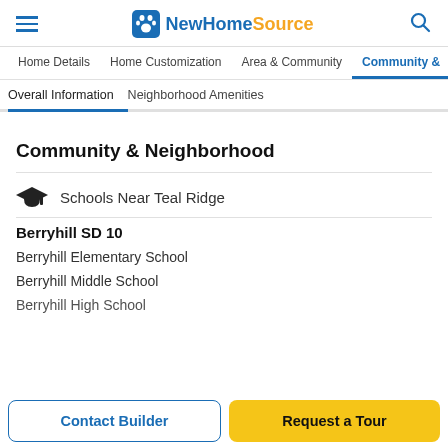NewHomeSource
Home Details | Home Customization | Area & Community | Community &
Overall Information | Neighborhood Amenities
Community & Neighborhood
Schools Near Teal Ridge
Berryhill SD 10
Berryhill Elementary School
Berryhill Middle School
Berryhill High School
Contact Builder
Request a Tour